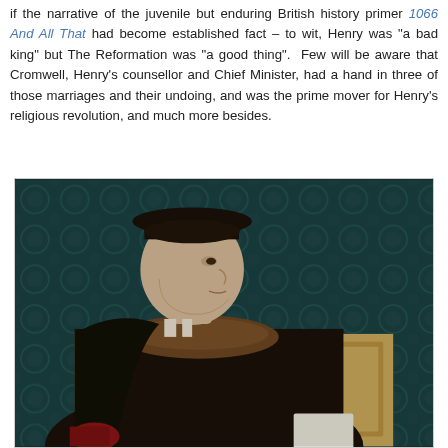if the narrative of the juvenile but enduring British history primer 1066 And All That had become established fact – to wit, Henry was "a bad king" but The Reformation was "a good thing". Few will be aware that Cromwell, Henry's counsellor and Chief Minister, had a hand in three of those marriages and their undoing, and was the prime mover for Henry's religious revolution, and much more besides.
[Figure (photo): Portrait painting of Thomas Cromwell, shown in profile/three-quarter view facing left. He wears dark clothing and a black flat cap. The background features a teal/dark green patterned textile. He sits before a wooden panel. Painted in the style of Hans Holbein the Younger.]